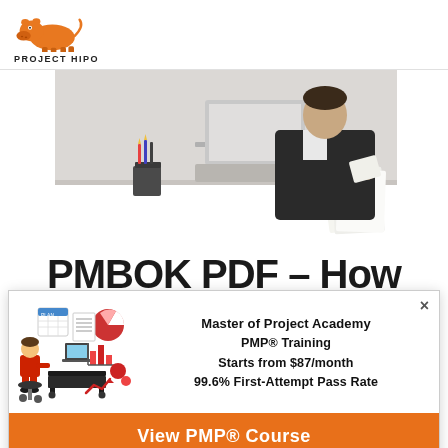[Figure (logo): Project Hipo logo: orange hippo illustration above bold text 'PROJECT HIPO']
[Figure (photo): Person in business attire working at a desk with a laptop and documents]
PMBOK PDF – How
[Figure (illustration): Cartoon illustration of a businessman with project management symbols: pie chart, bar chart, calendar, documents, desk with laptop]
Master of Project Academy PMP® Training Starts from $87/month 99.6% First-Attempt Pass Rate
View PMP® Course
*Sponsored Ad